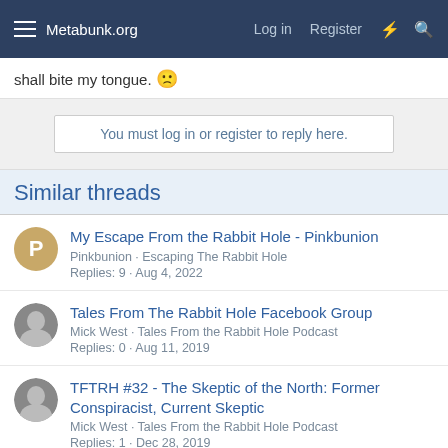Metabunk.org — Log in   Register
shall bite my tongue. 🙁
You must log in or register to reply here.
Similar threads
My Escape From the Rabbit Hole - Pinkbunion
Pinkbunion · Escaping The Rabbit Hole
Replies: 9 · Aug 4, 2022
Tales From The Rabbit Hole Facebook Group
Mick West · Tales From the Rabbit Hole Podcast
Replies: 0 · Aug 11, 2019
TFTRH #32 - The Skeptic of the North: Former Conspiracist, Current Skeptic
Mick West · Tales From the Rabbit Hole Podcast
Replies: 1 · Dec 28, 2019